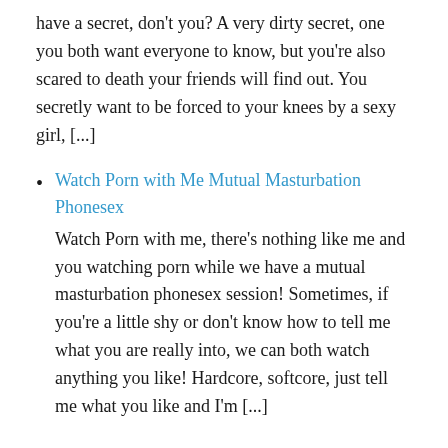have a secret, don't you? A very dirty secret, one you both want everyone to know, but you're also scared to death your friends will find out. You secretly want to be forced to your knees by a sexy girl, [...]
Watch Porn with Me Mutual Masturbation Phonesex
Watch Porn with me, there's nothing like me and you watching porn while we have a mutual masturbation phonesex session! Sometimes, if you're a little shy or don't know how to tell me what you are really into, we can both watch anything you like! Hardcore, softcore, just tell me what you like and I'm [...]